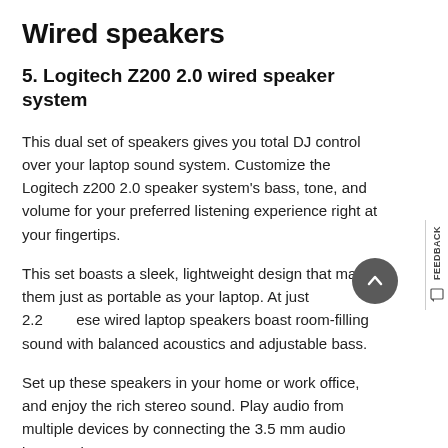Wired speakers
5. Logitech Z200 2.0 wired speaker system
This dual set of speakers gives you total DJ control over your laptop sound system. Customize the Logitech z200 2.0 speaker system’s bass, tone, and volume for your preferred listening experience right at your fingertips.
This set boasts a sleek, lightweight design that makes them just as portable as your laptop. At just 2.2 these wired laptop speakers boast room-filling sound with balanced acoustics and adjustable bass.
Set up these speakers in your home or work office, and enjoy the rich stereo sound. Play audio from multiple devices by connecting the 3.5 mm audio input and